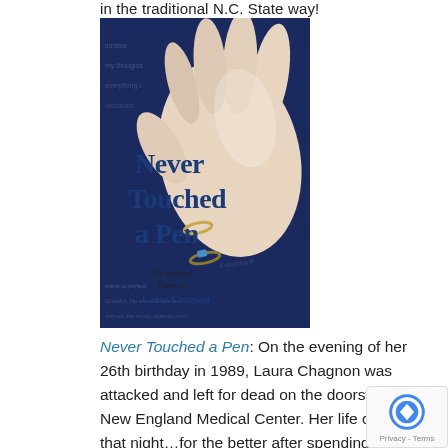in the traditional N.C. State way!
[Figure (photo): Book cover of 'Never Touched a Pen: The Inspired Poetry of Laura Chagnon'. Shows a close-up of a hand (foot) with rings against a dark blue background with faint text.]
Never Touched a Pen: On the evening of her 26th birthday in 1989, Laura Chagnon was attacked and left for dead on the doorstep of the New England Medical Center. Her life changed that night…for the better after spending nearly five weeks in a coma and awaking a legally bli[nd] quadriplegic. Laura then spent four years in a